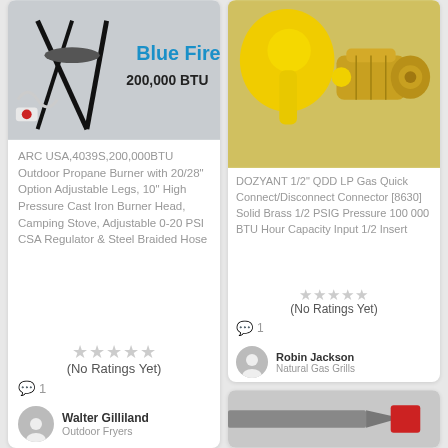[Figure (photo): Blue Fire propane burner product photo with text overlay showing brand name and BTU]
Blue Fire
200,000 BTU
ARC USA,4039S,200,000BTU Outdoor Propane Burner with 20/28" Option Adjustable Legs, 10" High Pressure Cast Iron Burner Head, Camping Stove, Adjustable 0-20 PSI CSA Regulator & Steel Braided Hose
(No Ratings Yet)
1
Walter Gilliland
Outdoor Fryers
[Figure (photo): DOZYANT yellow and brass LP gas quick connect/disconnect connector product photo]
DOZYANT 1/2" QDD LP Gas Quick Connect/Disconnect Connector [8630] Solid Brass 1/2 PSIG Pressure 100 000 BTU Hour Capacity Input 1/2 Insert
(No Ratings Yet)
1
Robin Jackson
Natural Gas Grills
[Figure (photo): Partial product photo at bottom right, appears to show a knife or tool with red element]